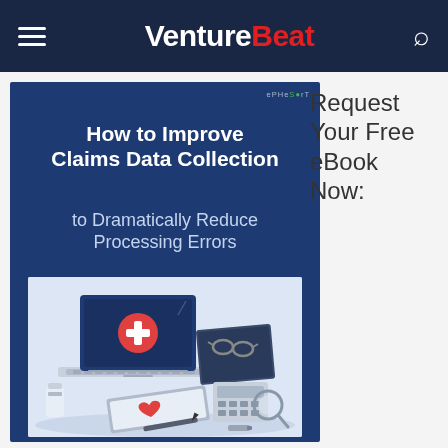VentureBeat
[Figure (illustration): Book cover for ePHeSoft eBook titled 'How to Improve Claims Data Collection to Dramatically Reduce Processing Errors', with an illustration of a laptop showing a medical cross symbol, a notebook with glasses, a calculator, a magnifying glass, a tablet with a heart document, and a medicine bottle on a desk.]
Request Your Free eBook Now: